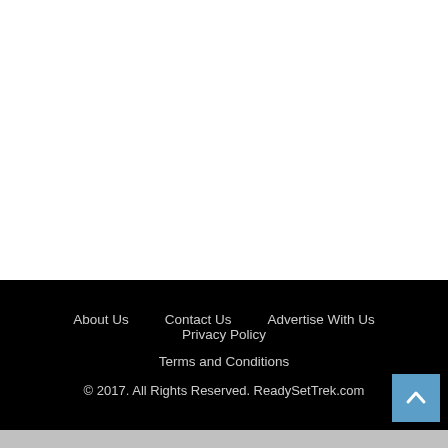About Us   Contact Us   Advertise With Us   Privacy Policy   Terms and Conditions   © 2017. All Rights Reserved. ReadySetTrek.com